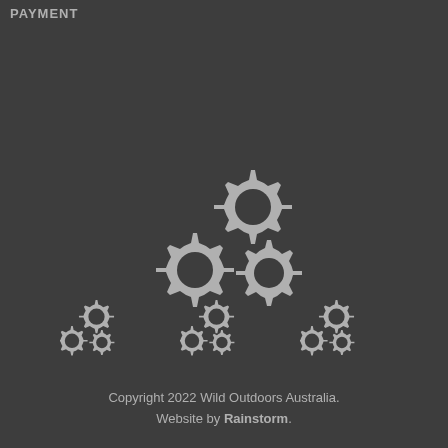PAYMENT
[Figure (illustration): Three interlocking gear icons arranged in a triangular cluster, large size, grey color on dark background]
[Figure (illustration): Three small gear cluster icons arranged in a horizontal row, grey color on dark background]
Copyright 2022 Wild Outdoors Australia. Website by Rainstorm.